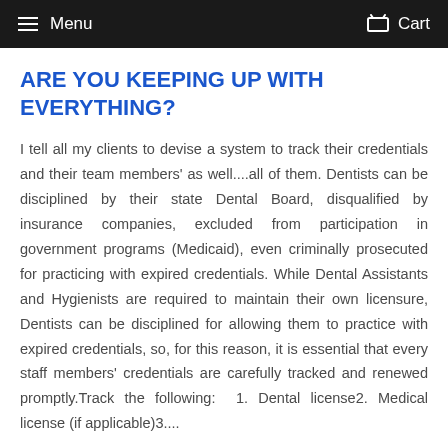Menu   Cart
ARE YOU KEEPING UP WITH EVERYTHING?
I tell all my clients to devise a system to track their credentials and their team members' as well....all of them. Dentists can be disciplined by their state Dental Board, disqualified by insurance companies, excluded from participation in government programs (Medicaid), even criminally prosecuted for practicing with expired credentials. While Dental Assistants and Hygienists are required to maintain their own licensure, Dentists can be disciplined for allowing them to practice with expired credentials, so, for this reason, it is essential that every staff members' credentials are carefully tracked and renewed promptly.Track the following:  1. Dental license2. Medical license (if applicable)3....